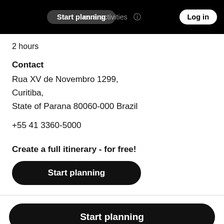Start planning   es & activities   Log in
2 hours
Contact
Rua XV de Novembro 1299,
Curitiba,
State of Parana 80060-000 Brazil
+55 41 3360-5000
Create a full itinerary - for free!
Start planning
Start planning